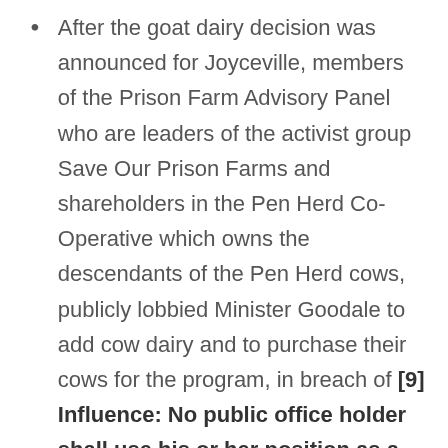After the goat dairy decision was announced for Joyceville, members of the Prison Farm Advisory Panel who are leaders of the activist group Save Our Prison Farms and shareholders in the Pen Herd Co-Operative which owns the descendants of the Pen Herd cows, publicly lobbied Minister Goodale to add cow dairy and to purchase their cows for the program, in breach of [9] Influence: No public office holder shall use his or her position as a public office holder to seek to influence a decision of another person so as to further the public office holder's private interests